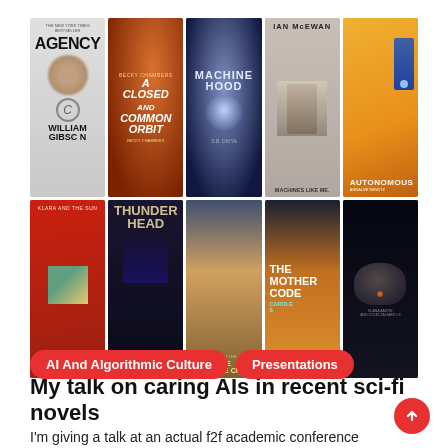[Figure (photo): Grid of 10 sci-fi book covers arranged in 2 rows of 5: Agency by William Gibson, A Closed and Common Orbit by Becky Chambers, Machinehood by S.B. Divya, Machines Like Me by Ian McEwan, Autonomous by Annalee Newitz (top row); Klara and the Sun by Kazuo Ishiguro, Thunderhead, The Salvage Crew, The Mother Code by Carole Saunders, and a dark brain image book (bottom row).]
AI And Algorithmic Culture
Presentations
My talk on caring AIs in recent sci-fi novels
I'm giving a talk at an actual f2f academic conference